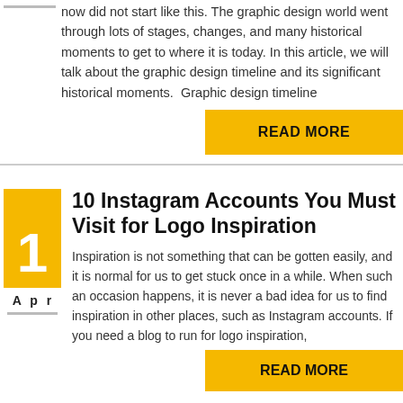now did not start like this. The graphic design world went through lots of stages, changes, and many historical moments to get to where it is today. In this article, we will talk about the graphic design timeline and its significant historical moments.  Graphic design timeline
READ MORE
10 Instagram Accounts You Must Visit for Logo Inspiration
Inspiration is not something that can be gotten easily, and it is normal for us to get stuck once in a while. When such an occasion happens, it is never a bad idea for us to find inspiration in other places, such as Instagram accounts. If you need a blog to run for logo inspiration,